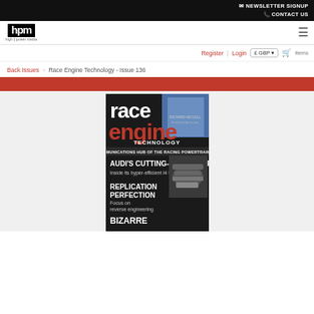NEWSLETTER SIGNUP | CONTACT US
[Figure (logo): High Power Media (hpm) logo - black square with white hpm text, 'high power media' subtitle]
Register | Login £ GBP items
Back Issues > Race Engine Technology - Issue 136
[Figure (photo): Race Engine Technology magazine cover Issue 136 - showing race engine with text: race engine technology, THE COMMUNICATIONS HUB OF THE RACING POWERTRAIN WORLD, AUDI'S CUTTING-EDGE WEAPON - Inside its hyper-efficient I4 turbo, REPLICATION PERFECTION Focus on reverse engineering, BIZARRE]